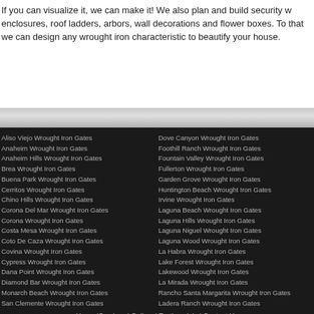If you can visualize it, we can make it! We also plan and build security w... enclosures, roof ladders, arbors, wall decorations and flower boxes. To... that we can design any wrought iron characteristic to beautify your house...
Aliso Viejo Wrought Iron Gates
Anaheim Wrought Iron Gates
Anaheim Hills Wrought Iron Gates
Brea Wrought Iron Gates
Buena Park Wrought Iron Gates
Cerritos Wrought Iron Gates
Chino Hills Wrought Iron Gates
Corona Del Mar Wrought Iron Gates
Corona Wrought Iron Gates
Costa Mesa Wrought Iron Gates
Coto De Caza Wrought Iron Gates
Covina Wrought Iron Gates
Cypress Wrought Iron Gates
Dana Point Wrought Iron Gates
Diamond Bar Wrought Iron Gates
Monarch Beach Wrought Iron Gates
San Clemente Wrought Iron Gates
Dove Canyon Wrought Iron Gates
Foothill Ranch Wrought Iron Gates
Fountain Valley Wrought Iron Gates
Fullerton Wrought Iron Gates
Garden Grove Wrought Iron Gates
Huntington Beach Wrought Iron Gates
Irvine Wrought Iron Gates
Laguna Beach Wrought Iron Gates
Laguna Hills Wrought Iron Gates
Laguna Niguel Wrought Iron Gates
Laguna Wood Wrought Iron Gates
La Habra Wrought Iron Gates
Lake Forest Wrought Iron Gates
Lakewood Wrought Iron Gates
La Mirada Wrought Iron Gates
Rancho Santa Margarita Wrought Iron Gates
Ladera Ranch Wrought Iron Gates
Home |Services | Gallery | Testimonials | Contact Us
© Copyright 2022 Kim Iron Works, Inc. - Fullerton, CA 714-441-1800
Stand Out Web Solutions - Google Local Search Experts | Rader Web Design - Business Web Design